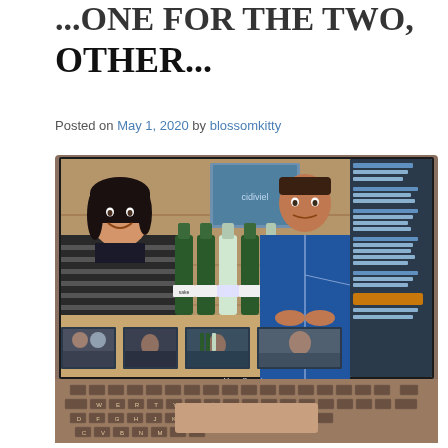...ONE FOR THE TWO, THE OTHER...
Posted on May 1, 2020 by blossomkitty
[Figure (photo): A MacBook laptop screen showing a Zoom video call. On screen are two people in the foreground — a Japanese woman on the left in a striped sweater, and a man on the right in a blue jacket — sitting at a table with several sake bottles in green and clear bottles. Behind them is a wooden wall with a framed poster. The right side of the screen shows a Zoom chat panel. At the bottom of the video screen are smaller gallery view thumbnails of other participants. The laptop keyboard (MacBook) is visible below the screen.]